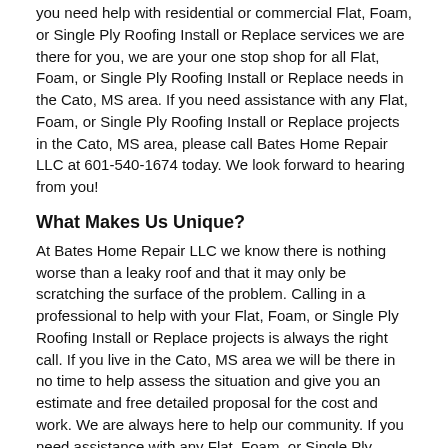you need help with residential or commercial Flat, Foam, or Single Ply Roofing Install or Replace services we are there for you, we are your one stop shop for all Flat, Foam, or Single Ply Roofing Install or Replace needs in the Cato, MS area. If you need assistance with any Flat, Foam, or Single Ply Roofing Install or Replace projects in the Cato, MS area, please call Bates Home Repair LLC at 601-540-1674 today. We look forward to hearing from you!
What Makes Us Unique?
At Bates Home Repair LLC we know there is nothing worse than a leaky roof and that it may only be scratching the surface of the problem. Calling in a professional to help with your Flat, Foam, or Single Ply Roofing Install or Replace projects is always the right call. If you live in the Cato, MS area we will be there in no time to help assess the situation and give you an estimate and free detailed proposal for the cost and work. We are always here to help our community. If you need assistance with any Flat, Foam, or Single Ply Roofing Install or Replace projects in the Cato, MS area, please call Bates Home Repair LLC at 601-540-1674 today. We look forward to hearing from you!
Services
- Asphalt Shingle Roofing - Install or Replace
- Asphalt Shingle Roofing - Repair
- Built-Up Roofing
- Commercial Roofing
- Concrete Roof Tile Manufacturer
- Decorative Metal Roofing - Installation